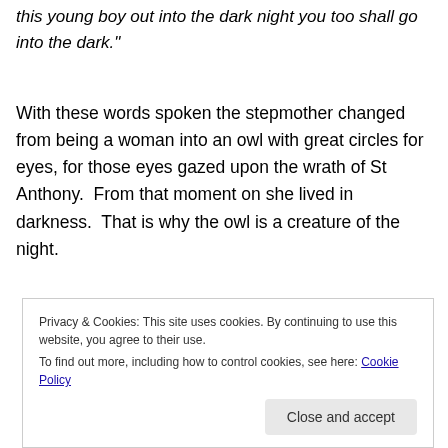this young boy out into the dark night you too shall go into the dark."
With these words spoken the stepmother changed from being a woman into an owl with great circles for eyes, for those eyes gazed upon the wrath of St Anthony.  From that moment on she lived in darkness.  That is why the owl is a creature of the night.
Privacy & Cookies: This site uses cookies. By continuing to use this website, you agree to their use.
To find out more, including how to control cookies, see here: Cookie Policy